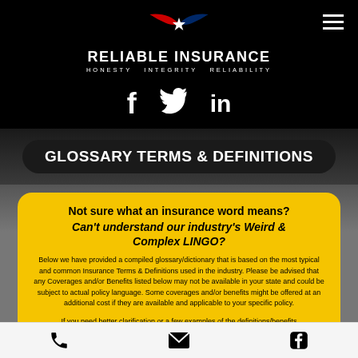RELIABLE INSURANCE — HONESTY INTEGRITY RELIABILITY
[Figure (logo): Reliable Insurance eagle logo with red and blue wings and white star, with social media icons (Facebook, Twitter, LinkedIn) below]
GLOSSARY TERMS & DEFINITIONS
Not sure what an insurance word means?
Can't understand our industry's Weird & Complex LINGO?
Below we have provided a compiled glossary/dictionary that is based on the most typical and common Insurance Terms & Definitions used in the industry. Please be advised that any Coverages and/or Benefits listed below may not be available in your state and could be subject to actual policy language. Some coverages and/or benefits might be offered at an additional cost if they are available and applicable to your specific policy.
If you need better clarification or a few examples of the definitions/benefits
Phone | Email | Facebook